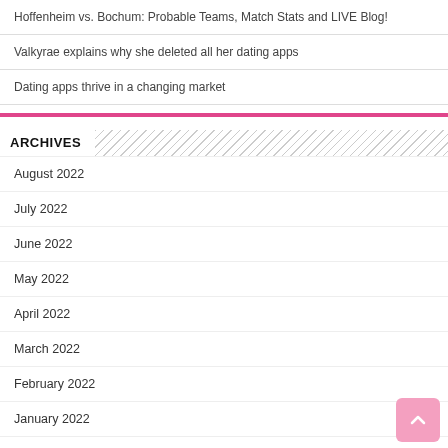Hoffenheim vs. Bochum: Probable Teams, Match Stats and LIVE Blog!
Valkyrae explains why she deleted all her dating apps
Dating apps thrive in a changing market
ARCHIVES
August 2022
July 2022
June 2022
May 2022
April 2022
March 2022
February 2022
January 2022